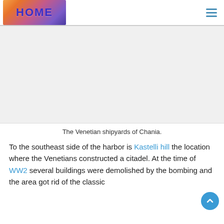HOME
[Figure (other): Advertisement or placeholder image area (grey background)]
The Venetian shipyards of Chania.
To the southeast side of the harbor is Kastelli hill the location where the Venetians constructed a citadel. At the time of WW2 several buildings were demolished by the bombing and the area got rid of the classic